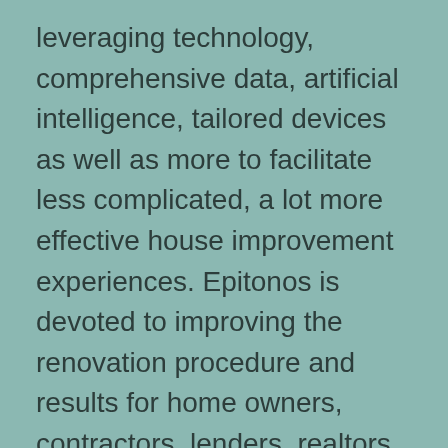leveraging technology, comprehensive data, artificial intelligence, tailored devices as well as more to facilitate less complicated, a lot more effective house improvement experiences. Epitonos is devoted to improving the renovation procedure and results for home owners, contractors, lenders, realtors and all others participating in this $400B/year sector.
We identify that we'll just alter the market when we create a market built on a clear structure. That is Epitonos's goal. We're offering great details as well as structure powerful tools that help house owners make more enlightened